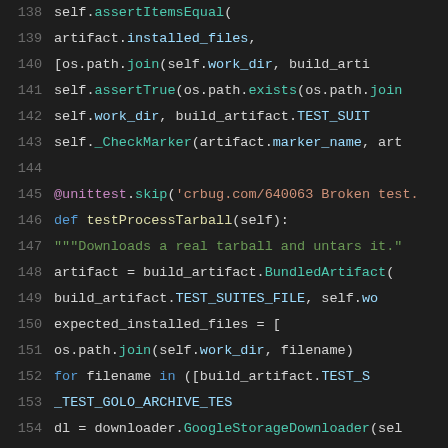[Figure (screenshot): Python source code listing showing lines 138-158 with syntax highlighting on dark background. Lines include test methods with assertItemsEqual, assertTrue, CheckMarker, a unittest.skip decorator, testProcessTarball method definition, BundledArtifact call, expected_installed_files list comprehension, GoogleStorageDownloader call, Process call, and more assertion calls.]